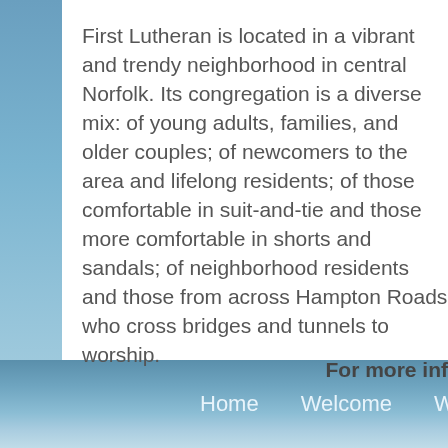First Lutheran is located in a vibrant and trendy neighborhood in central Norfolk. Its congregation is a diverse mix: of young adults, families, and older couples; of newcomers to the area and lifelong residents; of those comfortable in suit-and-tie and those more comfortable in shorts and sandals; of neighborhood residents and those from across Hampton Roads who cross bridges and tunnels to worship.
For more inf
Home   Welcome   Worship   Lea